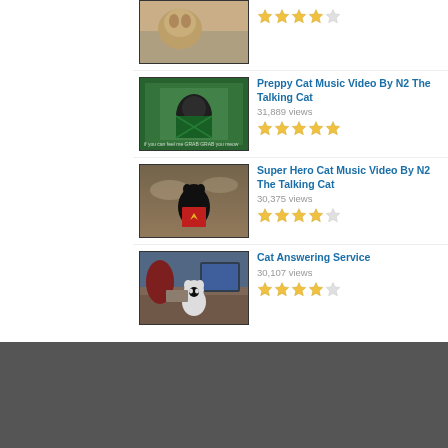[Figure (screenshot): Video listing showing cat videos with thumbnails, view counts, and star ratings. Includes: top cropped video with 4/5 stars; Preppy Cat Music Video By N2 The Talking Cat (31,889 views, 5/5 stars); Super Hero Cat Music Video By N2 The Talking Cat (30,375 views, 4/5 stars); Cat Answering Service (30,107 views, 4/5 stars).]